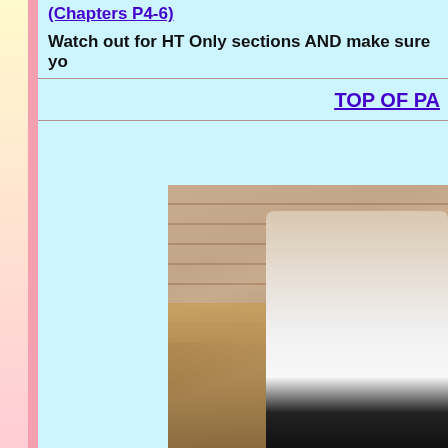(Chapters P4-6)
Watch out for HT Only sections AND make sure yo
TOP OF PA
[Figure (photo): Person in white lab coat leaning over a cluttered desk in a room with brick walls]